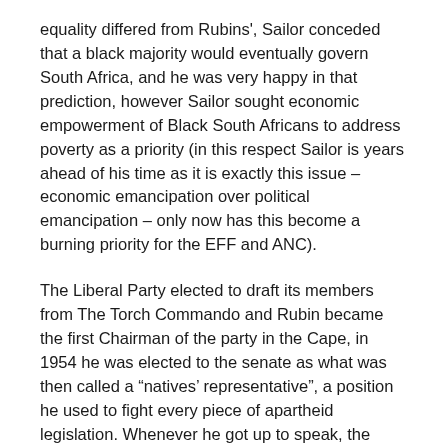equality differed from Rubins', Sailor conceded that a black majority would eventually govern South Africa, and he was very happy in that prediction, however Sailor sought economic empowerment of Black South Africans to address poverty as a priority (in this respect Sailor is years ahead of his time as it is exactly this issue – economic emancipation over political emancipation – only now has this become a burning priority for the EFF and ANC).
The Liberal Party elected to draft its members from The Torch Commando and Rubin became the first Chairman of the party in the Cape, in 1954 he was elected to the senate as what was then called a "natives' representative", a position he used to fight every piece of apartheid legislation. Whenever he got up to speak, the Minister of Native Affairs, the 'architect' of Apartheid – Dr Hendrik Verwoerd – would leave the chamber in protest. On one occasion, the entire Nationalist party caucus walked out.
The Liberal Party held the objective of bringing together committed Whites, Africans, Indians and Cape Coloured